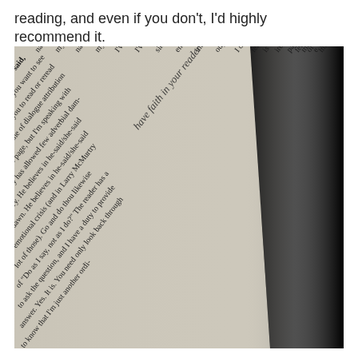reading, and even if you don't, I'd highly recommend it.
[Figure (photo): A photo of an open book page photographed at an angle, showing excerpts of text from what appears to be a writing guide. The text discusses dialogue attribution, adverbs, and 'he-said/she-said' conventions. A handwritten note reading 'have faith in your reader' is visible diagonally across the page. The right side of the image fades into dark shadow.]